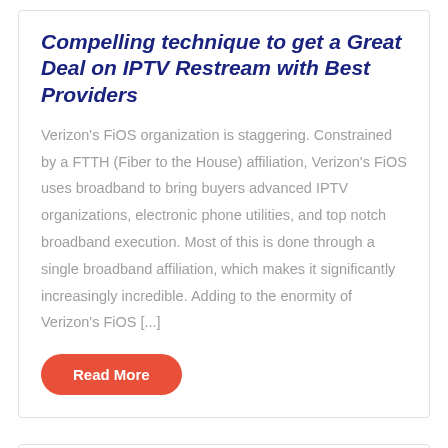Compelling technique to get a Great Deal on IPTV Restream with Best Providers
Verizon's FiOS organization is staggering. Constrained by a FTTH (Fiber to the House) affiliation, Verizon's FiOS uses broadband to bring buyers advanced IPTV organizations, electronic phone utilities, and top notch broadband execution. Most of this is done through a single broadband affiliation, which makes it significantly increasingly incredible. Adding to the enormity of Verizon's FiOS [...]
Read More
Techniques Used to Combat High White Blood